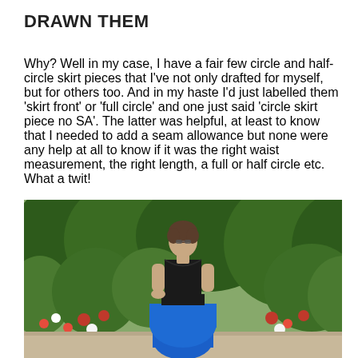DRAWN THEM
Why? Well in my case, I have a fair few circle and half-circle skirt pieces that I've not only drafted for myself, but for others too. And in my haste I'd just labelled them 'skirt front' or 'full circle' and one just said 'circle skirt piece no SA'. The latter was helpful, at least to know that I needed to add a seam allowance but none were any help at all to know if it was the right waist measurement, the right length, a full or half circle etc. What a twit!
[Figure (photo): A woman wearing a black lace top with a wide black belt and a bright blue full circle skirt, standing in a garden with green trees and red and white roses in the background.]